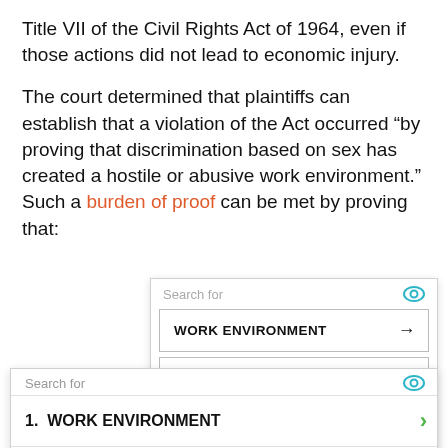Title VII of the Civil Rights Act of 1964, even if those actions did not lead to economic injury.
The court determined that plaintiffs can establish that a violation of the Act occurred “by proving that discrimination based on sex has created a hostile or abusive work environment.” Such a burden of proof can be met by proving that:
[Figure (screenshot): Search widget showing search bar with eye icon, and two result rows: 'WORK ENVIRONMENT' and 'HOSTILE WORK ENVIRONMENT', with a partial third row 'HOSTILE ENVIRONMENT', each with a right arrow.]
[Figure (screenshot): Search widget overlay showing 'Search for' header with eye icon, then two numbered list items: '1. WORK ENVIRONMENT' and '2. HARASSMENT & HOSTILE WORK', each with a green chevron arrow, separated by horizontal rules, and a send icon at the bottom right.]